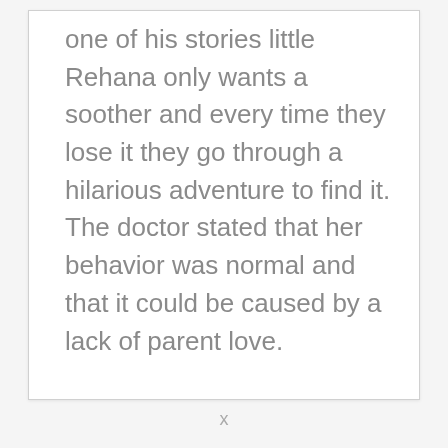one of his stories little Rehana only wants a soother and every time they lose it they go through a hilarious adventure to find it. The doctor stated that her behavior was normal and that it could be caused by a lack of parent love.
x